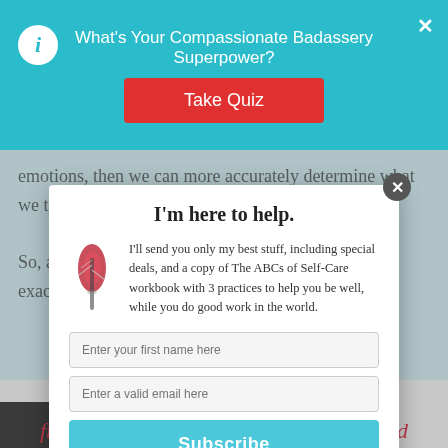What's Your Compassionate Badassery Superpower?
emotions, then we can more accurately determine what we truly n...
So, as Su... exactly w...
I'm here to help.
I'll send you only my best stuff, including special deals, and a copy of The ABCs of Self-Care workbook with 3 practices to help you be well, while you do good work in the world.
Enter your first name here
Enter a valid email here
Subscribe
Your information will *never* be shared or sold to a 3rd party.
frustrated
irritated